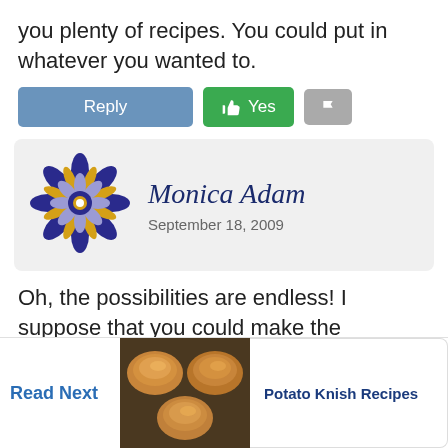you plenty of recipes. You could put in whatever you wanted to.
Reply | Yes | [flag]
[Figure (illustration): Decorative avatar: blue and gold mandala/floral tile pattern]
Monica Adam
September 18, 2009
Oh, the possibilities are endless! I suppose that you could make the "wrapping" from scratch, but I cheat a little...
Read Next
[Figure (photo): Photo of baked potato knish pastries on a baking tray]
Potato Knish Recipes